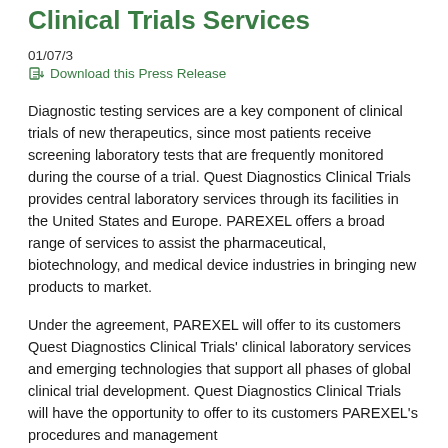Clinical Trials Services
01/07/3
Download this Press Release
Diagnostic testing services are a key component of clinical trials of new therapeutics, since most patients receive screening laboratory tests that are frequently monitored during the course of a trial. Quest Diagnostics Clinical Trials provides central laboratory services through its facilities in the United States and Europe. PAREXEL offers a broad range of services to assist the pharmaceutical, biotechnology, and medical device industries in bringing new products to market.
Under the agreement, PAREXEL will offer to its customers Quest Diagnostics Clinical Trials' clinical laboratory services and emerging technologies that support all phases of global clinical trial development. Quest Diagnostics Clinical Trials will have the opportunity to offer to its customers PAREXEL's procedures and management...